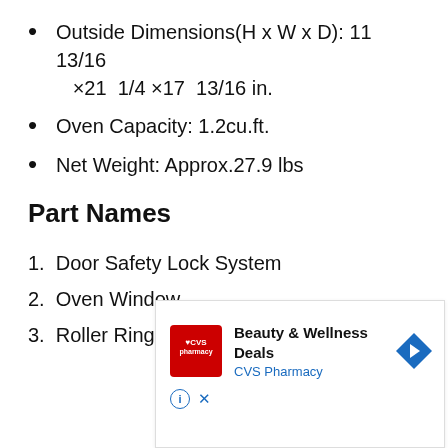Outside Dimensions(H x W x D): 11 13/16 ×21 1/4 ×17 13/16 in.
Oven Capacity: 1.2cu.ft.
Net Weight: Approx.27.9 lbs
Part Names
1. Door Safety Lock System
2. Oven Window
3. Roller Ring
[Figure (other): CVS Pharmacy advertisement banner: Beauty & Wellness Deals, CVS Pharmacy, with CVS logo and navigation arrow icon]